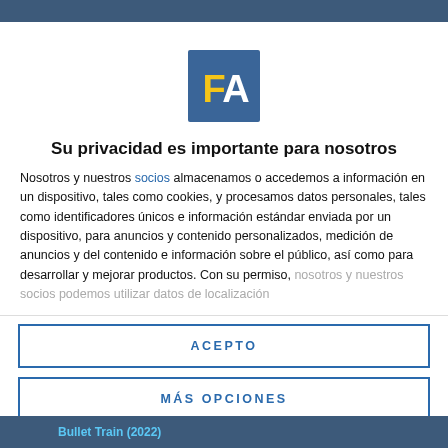[Figure (logo): FA logo: blue square with yellow 'F' and white 'A' letters]
Su privacidad es importante para nosotros
Nosotros y nuestros socios almacenamos o accedemos a información en un dispositivo, tales como cookies, y procesamos datos personales, tales como identificadores únicos e información estándar enviada por un dispositivo, para anuncios y contenido personalizados, medición de anuncios y del contenido e información sobre el público, así como para desarrollar y mejorar productos. Con su permiso, nosotros y nuestros socios podemos utilizar datos de localización
ACEPTO
MÁS OPCIONES
Bullet Train (2022)